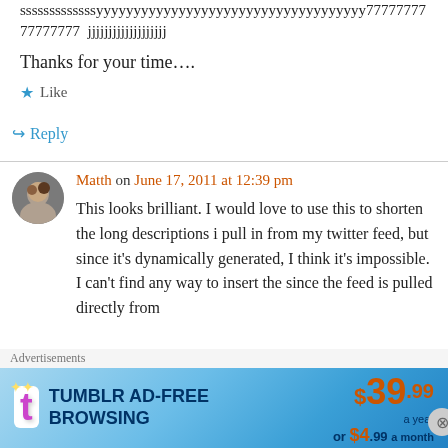sssssssssssssyyyyyyyyyyyyyyyyyyyyyyyyyyyyyyyyyyyy7777777777777777 jjjjjjjjjjjjjjjjjjj
Thanks for your time….
★ Like
↪ Reply
Matth on June 17, 2011 at 12:39 pm
This looks brilliant. I would love to use this to shorten the long descriptions i pull in from my twitter feed, but since it's dynamically generated, I think it's impossible. I can't find any way to insert the since the feed is pulled directly from
[Figure (infographic): Tumblr AD-FREE BROWSING advertisement banner. $39.99 a year or $4.99 a month.]